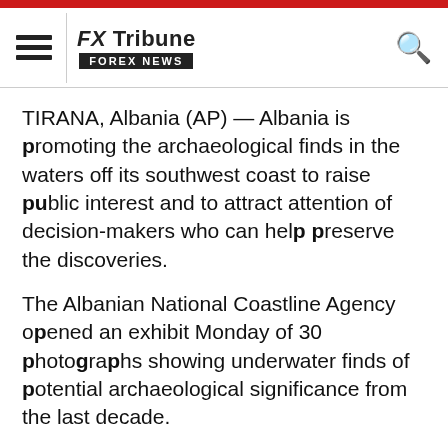FX Tribune FOREX NEWS
TIRANA, Albania (AP) — Albania is promoting the archaeological finds in the waters off its southwest coast to raise public interest and to attract attention of decision-makers who can help preserve the discoveries.
The Albanian National Coastline Agency opened an exhibit Monday of 30 photographs showing underwater finds of potential archaeological significance from the last decade.
The nonprofit RPM Nautical Foundation has mapped about one-third of Albania's coast so far, from Saranda, near Greece's Corfu island, to Vlora. National coastline agency head Auron Tare says the scan found 38 shipwrecks in the Ionian Sea, six of